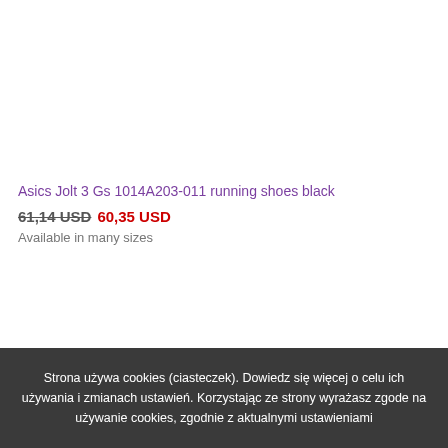Asics Jolt 3 Gs 1014A203-011 running shoes black
61,14 USD 60,35 USD
Available in many sizes
Strona używa cookies (ciasteczek). Dowiedz się więcej o celu ich używania i zmianach ustawień. Korzystając ze strony wyrażasz zgode na używanie cookies, zgodnie z aktualnymi ustawieniami